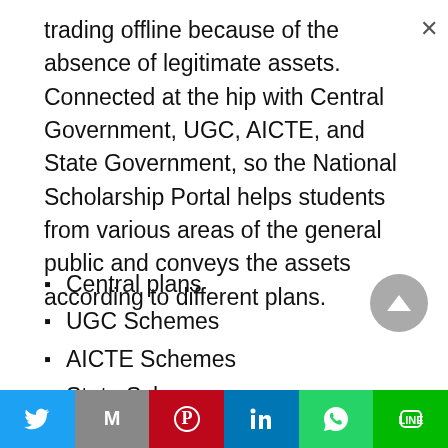trading offline because of the absence of legitimate assets. Connected at the hip with Central Government, UGC, AICTE, and State Government, so the National Scholarship Portal helps students from various areas of the general public and conveys the assets according to different plans.
Central plans
UGC Schemes
AICTE Schemes
State Schemes